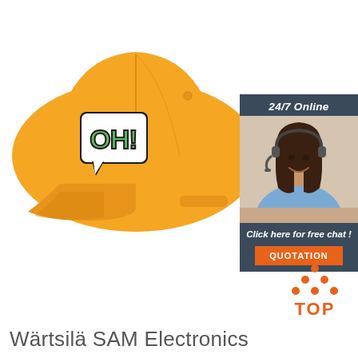[Figure (photo): Yellow baseball cap with 'OH!' comic speech bubble patch on the front, displayed on a white background.]
[Figure (infographic): 24/7 Online live chat widget with a smiling woman wearing a headset, 'Click here for free chat!' text, and an orange QUOTATION button.]
[Figure (logo): TOP logo - orange triangle shape made of dots with the word TOP in orange below.]
Wärtsilä SAM Electronics